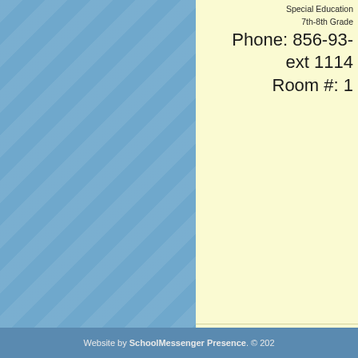Special Education
7th-8th Grade
Phone: 856-93-
ext 1114
Room #: 1
Website by SchoolMessenger Presence. © 202